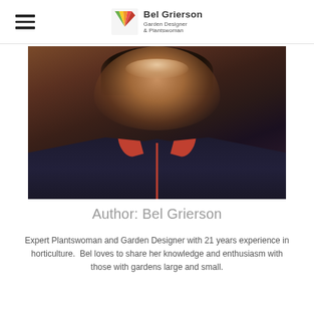Bel Grierson Garden Designer & Plantswoman
[Figure (photo): Close-up photo of a smiling woman with curly dark hair wearing a navy blue puffer jacket with red/orange accents on the zipper and collar]
Author: Bel Grierson
Expert Plantswoman and Garden Designer with 21 years experience in horticulture.  Bel loves to share her knowledge and enthusiasm with those with gardens large and small.